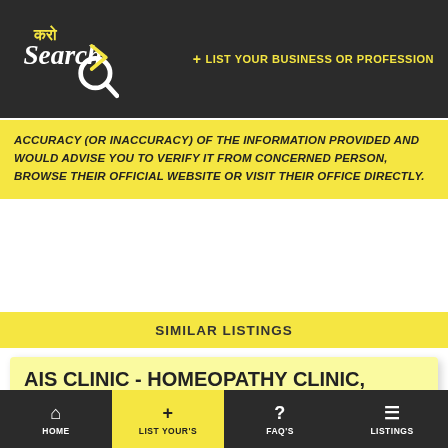Karo Search — + LIST YOUR BUSINESS OR PROFESSION
ACCURACY (OR INACCURACY) OF THE INFORMATION PROVIDED AND WOULD ADVISE YOU TO VERIFY IT FROM CONCERNED PERSON, BROWSE THEIR OFFICIAL WEBSITE OR VISIT THEIR OFFICE DIRECTLY.
SIMILAR LISTINGS
AIS CLINIC - HOMEOPATHY CLINIC, ...
HYDERABAD, TELANGAN ...
ADDED ON 12-APR-21
HOME | LIST YOUR's | FAQ's | LISTINGS